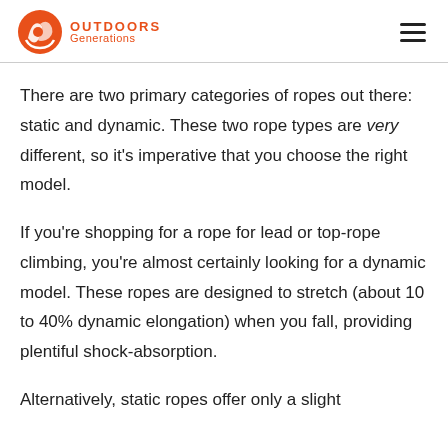Outdoors Generations
There are two primary categories of ropes out there: static and dynamic. These two rope types are very different, so it’s imperative that you choose the right model.
If you’re shopping for a rope for lead or top-rope climbing, you’re almost certainly looking for a dynamic model. These ropes are designed to stretch (about 10 to 40% dynamic elongation) when you fall, providing plentiful shock-absorption.
Alternatively, static ropes offer only a slight